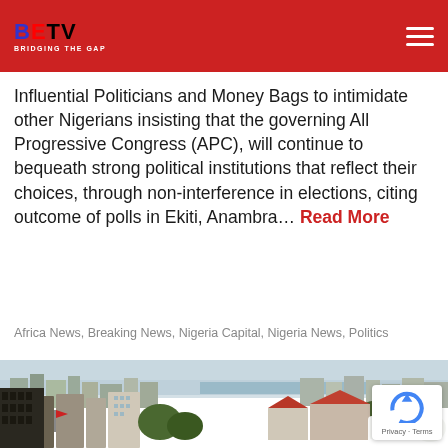BEN TV - BRIDGING THE GAP
Influential Politicians and Money Bags to intimidate other Nigerians insisting that the governing All Progressive Congress (APC), will continue to bequeath strong political institutions that reflect their choices, through non-interference in elections, citing outcome of polls in Ekiti, Anambra... Read More
Africa News, Breaking News, Nigeria Capital, Nigeria News, Politics
[Figure (photo): Aerial cityscape view of Lagos, Nigeria showing tall buildings, residential areas, trees, and a river or lagoon in the background under a hazy sky.]